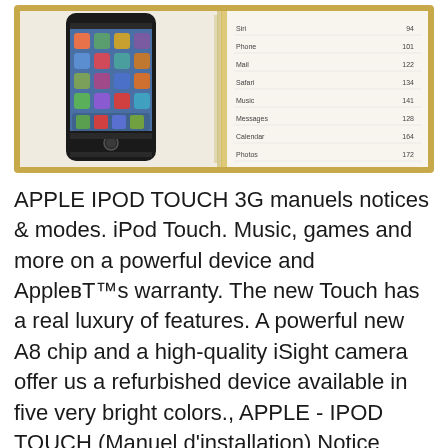[Figure (photo): Photo of an open book/manual showing an iPhone 5 on the left page and a table of contents on the right page listing Siri 94, Phone 101, Mail 122, Safari 134, Music 141, Messages 128, Calendar 164, Photos 172.]
APPLE IPOD TOUCH 3G manuels notices & modes. iPod Touch. Music, games and more on a powerful device and Apple'™s warranty. The new Touch has a real luxury of features. A powerful new A8 chip and a high-quality iSight camera offer us a refurbished device available in five very bright colors., APPLE - IPOD TOUCH (Manuel d'installation) Notice d'installation APPLE IPOD TOUCH - Ce manuel